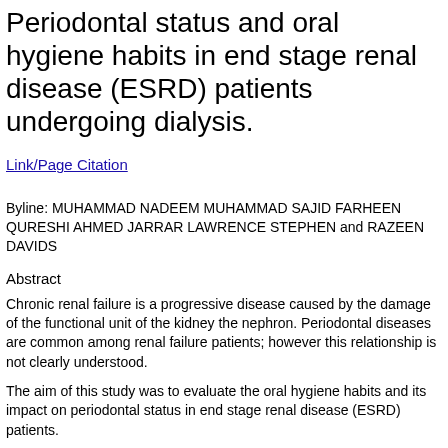Periodontal status and oral hygiene habits in end stage renal disease (ESRD) patients undergoing dialysis.
Link/Page Citation
Byline: MUHAMMAD NADEEM MUHAMMAD SAJID FARHEEN QURESHI AHMED JARRAR LAWRENCE STEPHEN and RAZEEN DAVIDS
Abstract
Chronic renal failure is a progressive disease caused by the damage of the functional unit of the kidney the nephron. Periodontal diseases are common among renal failure patients; however this relationship is not clearly understood.
The aim of this study was to evaluate the oral hygiene habits and its impact on periodontal status in end stage renal disease (ESRD) patients.
Eighty ESRD patients attending the Tygerberg Hospital Renal Unit and